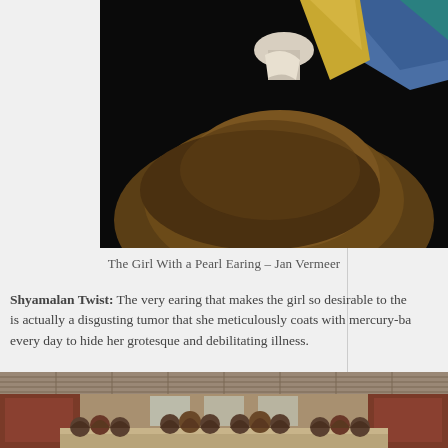[Figure (photo): Partial view of Girl With a Pearl Earring by Jan Vermeer, showing the figure from the shoulder area up, with a colorful head covering and dark background]
The Girl With a Pearl Earing – Jan Vermeer
Shyamalan Twist: The very earing that makes the girl so desirable to the is actually a disgusting tumor that she meticulously coats with mercury-ba every day to hide her grotesque and debilitating illness.
[Figure (photo): Partial view of The Last Supper by Leonardo da Vinci, showing the long hall with coffered ceiling and figures seated at a long table]